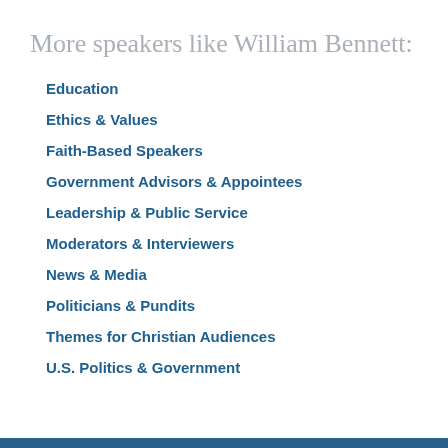More speakers like William Bennett:
Education
Ethics & Values
Faith-Based Speakers
Government Advisors & Appointees
Leadership & Public Service
Moderators & Interviewers
News & Media
Politicians & Pundits
Themes for Christian Audiences
U.S. Politics & Government